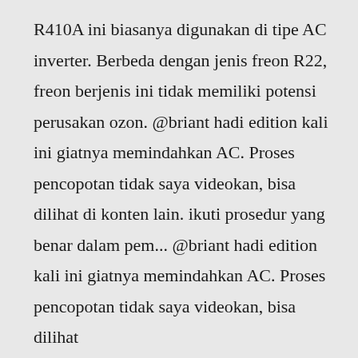R410A ini biasanya digunakan di tipe AC inverter. Berbeda dengan jenis freon R22, freon berjenis ini tidak memiliki potensi perusakan ozon. @briant hadi edition kali ini giatnya memindahkan AC. Proses pencopotan tidak saya videokan, bisa dilihat di konten lain. ikuti prosedur yang benar dalam pem... @briant hadi edition kali ini giatnya memindahkan AC. Proses pencopotan tidak saya videokan, bisa dilihat